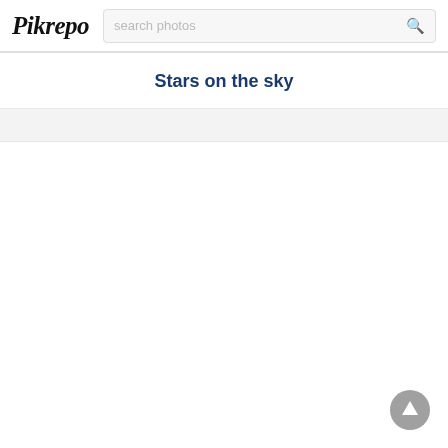Pikrepo
Stars on the sky
[Figure (screenshot): Scroll-to-top button (upward arrow in a gray circle) in the bottom-right corner]